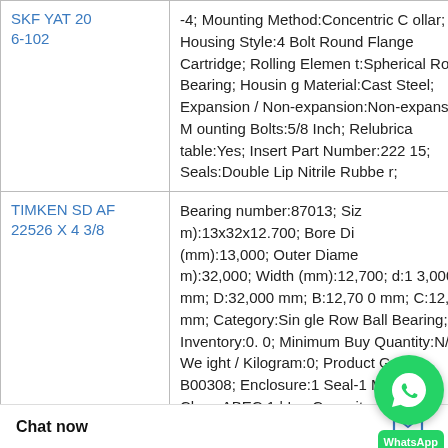| Product | Description |
| --- | --- |
| SKF YAT 206-102 | -4; Mounting Method:Concentric Collar; Housing Style:4 Bolt Round Flange Cartridge; Rolling Element:Spherical Roller Bearing; Housing Material:Cast Steel; Expansion / Non-expansion:Non-expansion; Mounting Bolts:5/8 Inch; Relubricatable:Yes; Insert Part Number:22215; Seals:Double Lip Nitrile Rubber; |
| TIMKEN SDAF 22526 X 4 3/8 | Bearing number:87013; Size (mm):13x32x12.700; Bore Diameter (mm):13,000; Outer Diameter (mm):32,000; Width (mm):12,700; d:13,000 mm; D:32,000 mm; B:12,700 mm; C:12,700 mm; Category:Single Row Ball Bearing; Inventory:0.0; Minimum Buy Quantity:N/A; Weight / Kilogram:0; Product Group:B00308; Enclosure:1 Seal-1 Metal; Precision Class:ABEC 1 | I; Lubrication Capacity / Fillin |